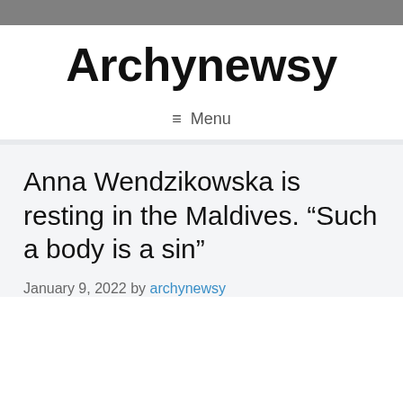Archynewsy
≡ Menu
Anna Wendzikowska is resting in the Maldives. “Such a body is a sin”
January 9, 2022 by archynewsy